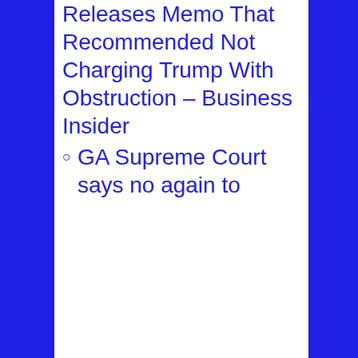Releases Memo That Recommended Not Charging Trump With Obstruction – Business Insider
GA Supreme Court says no again to